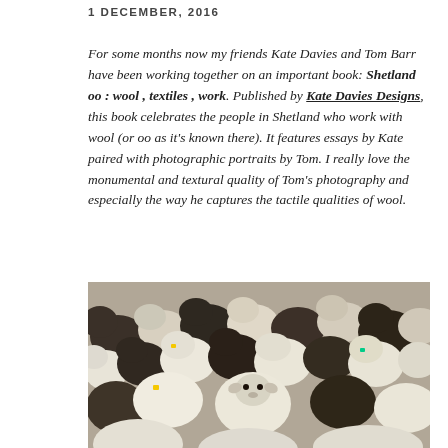1 DECEMBER, 2016
For some months now my friends Kate Davies and Tom Barr have been working together on an important book: Shetland oo : wool , textiles , work. Published by Kate Davies Designs, this book celebrates the people in Shetland who work with wool (or oo as it’s known there). It features essays by Kate paired with photographic portraits by Tom. I really love the monumental and textural quality of Tom’s photography and especially the way he captures the tactile qualities of wool.
[Figure (photo): A dense crowd of sheep photographed from behind and above, showing a mix of white and dark-coloured sheep with woolly backs; one sheep in the foreground faces the camera.]